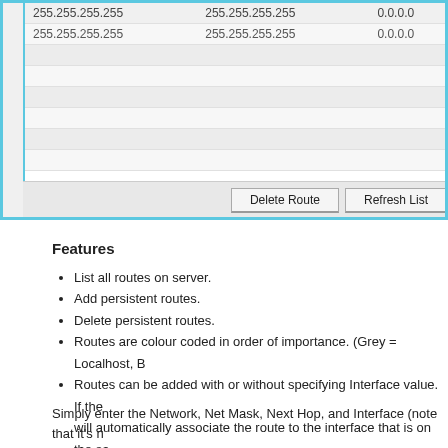[Figure (screenshot): Screenshot of a route management UI table showing rows with IP addresses (255.255.255.255) and values (0.0.0.0), with Delete Route and Refresh List buttons at the bottom.]
Features
List all routes on server.
Add persistent routes.
Delete persistent routes.
Routes are colour coded in order of importance. (Grey = Localhost, B...
Routes can be added with or without specifying Interface value. If the... will automatically associate the route to the interface that is on the sa...
Simply enter the Network, Net Mask, Next Hop, and Interface (note that it's n... you'd prefer not to, as the machine can figure this out based on the Next Ho...